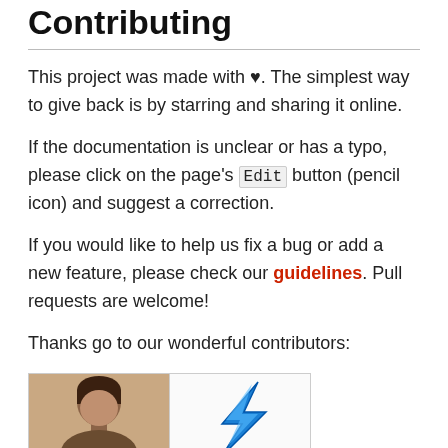Contributing
This project was made with ♥. The simplest way to give back is by starring and sharing it online.
If the documentation is unclear or has a typo, please click on the page's Edit button (pencil icon) and suggest a correction.
If you would like to help us fix a bug or add a new feature, please check our guidelines. Pull requests are welcome!
Thanks go to our wonderful contributors:
[Figure (photo): Grid of contributor avatars: a person photo on the left and a lightning bolt icon on the right]